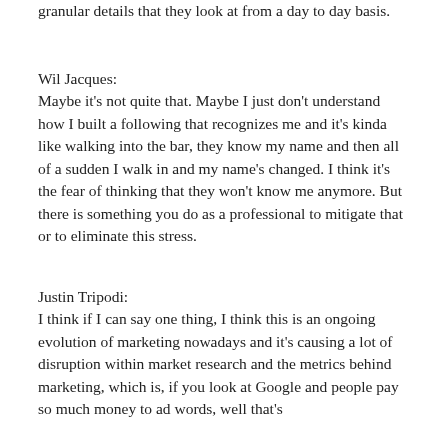granular details that they look at from a day to day basis.
Wil Jacques:
Maybe it's not quite that. Maybe I just don't understand how I built a following that recognizes me and it's kinda like walking into the bar, they know my name and then all of a sudden I walk in and my name's changed. I think it's the fear of thinking that they won't know me anymore. But there is something you do as a professional to mitigate that or to eliminate this stress.
Justin Tripodi:
I think if I can say one thing, I think this is an ongoing evolution of marketing nowadays and it's causing a lot of disruption within market research and the metrics behind marketing, which is, if you look at Google and people pay so much money to ad words, well that's